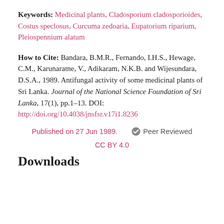Keywords: Medicinal plants, Cladosporium cladosporioides, Costus speclosus, Curcuma zedoaria, Eupatorium riparium, Pleiospennium alatum
How to Cite: Bandara, B.M.R., Fernando, I.H.S., Hewage, C.M., Karunaratne, V., Adikaram, N.K.B. and Wijesundara, D.S.A., 1989. Antifungal activity of some medicinal plants of Sri Lanka. Journal of the National Science Foundation of Sri Lanka, 17(1), pp.1–13. DOI: http://doi.org/10.4038/jnsfsr.v17i1.8236
Published on 27 Jun 1989.    ✔ Peer Reviewed
CC BY 4.0
Downloads